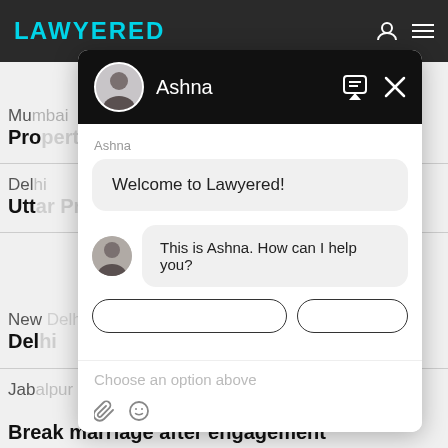[Figure (screenshot): Lawyered website chat widget screenshot showing a chat interface with avatar of Ashna, welcome messages, and input area]
Welcome to Lawyered!
This is Ashna. How can I help you?
Choose an option above
Break marriage after engagement